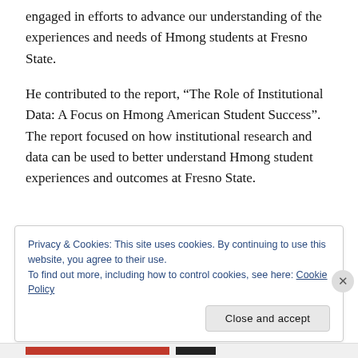engaged in efforts to advance our understanding of the experiences and needs of Hmong students at Fresno State.
He contributed to the report, “The Role of Institutional Data: A Focus on Hmong American Student Success”. The report focused on how institutional research and data can be used to better understand Hmong student experiences and outcomes at Fresno State.
Privacy & Cookies: This site uses cookies. By continuing to use this website, you agree to their use.
To find out more, including how to control cookies, see here: Cookie Policy